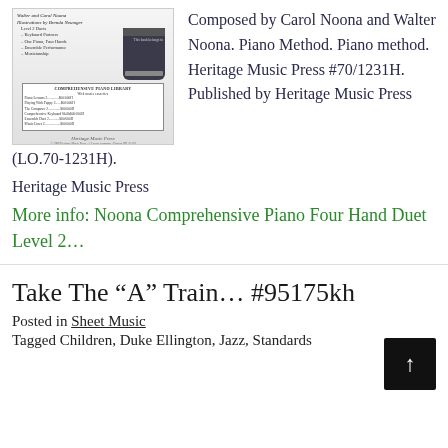[Figure (illustration): Book cover of Noona Comprehensive Piano Four Hand Duet Level 2, showing a piano image and a table of contents/library listing. Published by Heritage Music Press.]
Composed by Carol Noona and Walter Noona. Piano Method. Piano method. Heritage Music Press #70/1231H. Published by Heritage Music Press (LO.70-1231H).
Heritage Music Press
More info: Noona Comprehensive Piano Four Hand Duet Level 2…
Take The “A” Train… #95175kh
Posted in Sheet Music
Tagged Children, Duke Ellington, Jazz, Standards